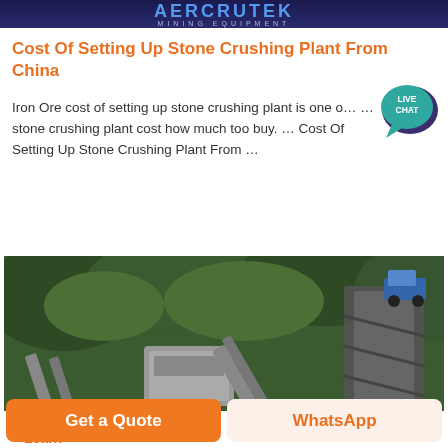[Figure (photo): Mining equipment company logo banner — dark blue background with blue stylized text logo and 'MINING EQUIPMENT' subtitle]
Cost Of Setting Up Stone Crushing Plant From China
Iron Ore cost of setting up stone crushing plant is one of ... stone crushing plant cost how much too buy. ... Cost Of Setting Up Stone Crushing Plant From ...
Learn More →
[Figure (illustration): Live chat speech bubble icon in teal/dark purple color with 'LIVE CHAT' text inside]
[Figure (photo): Outdoor photograph of a stone crushing plant with industrial conveyor and crushing equipment against a green forested hillside background]
Get a Quote
WhatsApp